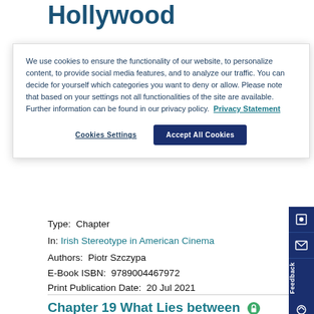Hollywood
We use cookies to ensure the functionality of our website, to personalize content, to provide social media features, and to analyze our traffic. You can decide for yourself which categories you want to deny or allow. Please note that based on your settings not all functionalities of the site are available. Further information can be found in our privacy policy. Privacy Statement
Cookies Settings | Accept All Cookies
Type:  Chapter
In: Irish Stereotype in American Cinema
Authors:  Piotr Szczypa
E-Book ISBN:  9789004467972
Print Publication Date:  20 Jul 2021
Chapter 19 What Lies between